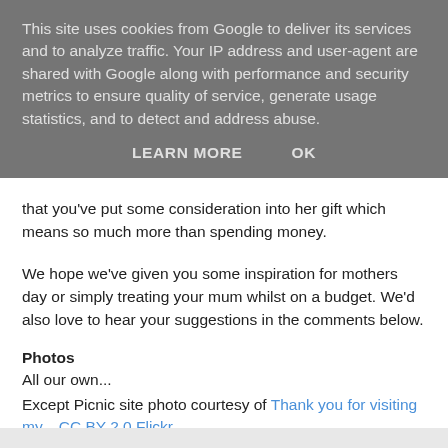This site uses cookies from Google to deliver its services and to analyze traffic. Your IP address and user-agent are shared with Google along with performance and security metrics to ensure quality of service, generate usage statistics, and to detect and address abuse.
LEARN MORE   OK
that you've put some consideration into her gift which means so much more than spending money.
We hope we've given you some inspiration for mothers day or simply treating your mum whilst on a budget. We'd also love to hear your suggestions in the comments below.
Photos
All our own...
Except Picnic site photo courtesy of Thank you for visiting my... CC BY 2.0 Flickr